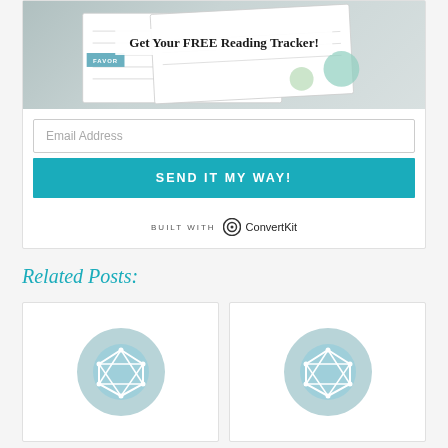[Figure (photo): Reading tracker printable mockup image with white overlay label 'Get Your FREE Reading Tracker!']
Email Address
SEND IT MY WAY!
BUILT WITH ConvertKit
Related Posts:
[Figure (illustration): Teal circle icon with white geometric network/polygon shape inside]
[Figure (illustration): Teal circle icon with white geometric network/polygon shape inside]